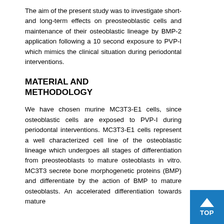The aim of the present study was to investigate short- and long-term effects on preosteoblastic cells and maintenance of their osteoblastic lineage by BMP-2 application following a 10 second exposure to PVP-I which mimics the clinical situation during periodontal interventions.
MATERIAL AND METHODOLOGY
We have chosen murine MC3T3-E1 cells, since osteoblastic cells are exposed to PVP-I during periodontal interventions. MC3T3-E1 cells represent a well characterized cell line of the osteoblastic lineage which undergoes all stages of differentiation from preosteoblasts to mature osteoblasts in vitro. MC3T3 secrete bone morphogenetic proteins (BMP) and differentiate by the action of BMP to mature osteoblasts. An accelerated differentiation towards mature